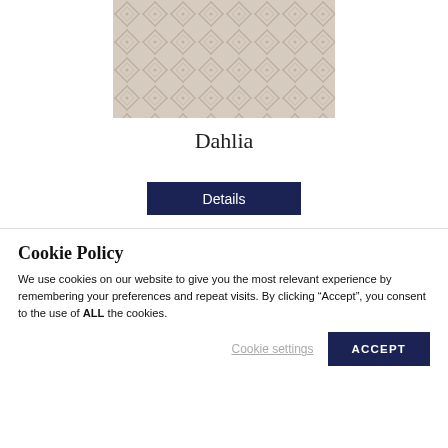[Figure (photo): Close-up photo of a beige/tan rug with diamond lattice pattern]
Dahlia
Details
[Figure (photo): Partial close-up of a light grey/white textured rug]
Cookie Policy
We use cookies on our website to give you the most relevant experience by remembering your preferences and repeat visits. By clicking “Accept”, you consent to the use of ALL the cookies.
Cookie settings
ACCEPT